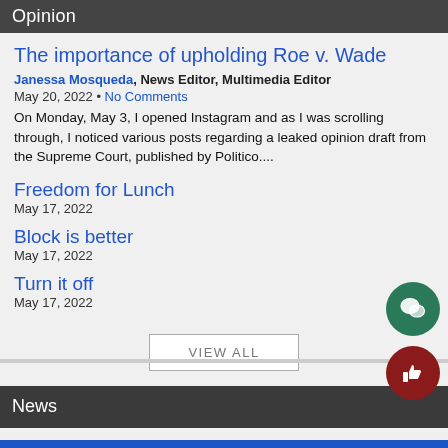Opinion
The importance of upholding Roe v. Wade
Janessa Mosqueda, News Editor, Multimedia Editor
May 20, 2022 • No Comments
On Monday, May 3, I opened Instagram and as I was scrolling through, I noticed various posts regarding a leaked opinion draft from the Supreme Court, published by Politico....
Freedom for Lunch
May 17, 2022
Block is better
May 17, 2022
Turn it off
May 17, 2022
VIEW ALL
News